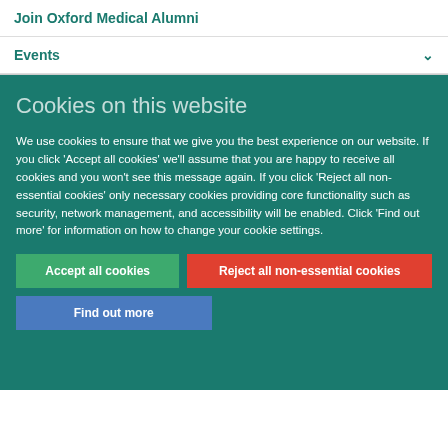Join Oxford Medical Alumni
Events
Cookies on this website
We use cookies to ensure that we give you the best experience on our website. If you click 'Accept all cookies' we'll assume that you are happy to receive all cookies and you won't see this message again. If you click 'Reject all non-essential cookies' only necessary cookies providing core functionality such as security, network management, and accessibility will be enabled. Click 'Find out more' for information on how to change your cookie settings.
Accept all cookies
Reject all non-essential cookies
Find out more